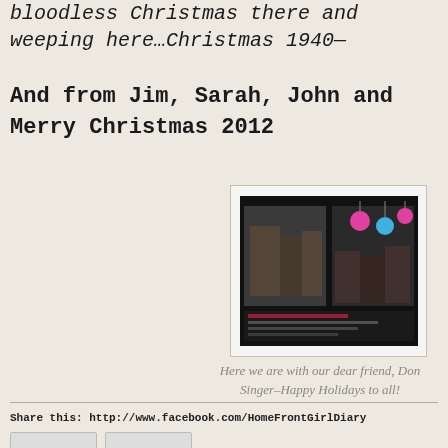bloodless Christmas there and weeping here…Christmas 1940—
And from Jim, Sarah, John and Merry Christmas 2012
[Figure (photo): A Christmas card with a dark background showing family photos and colorful ornament decorations, with holiday text at the bottom.]
Here we are with our dear friend, Don Singer–Happy Holidays to all!
Share this: http://www.facebook.com/HomeFrontGirlDiary